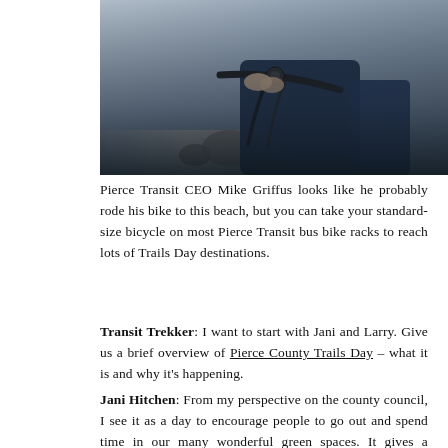[Figure (photo): Close-up photo of a person gripping bicycle handlebars at a beach setting]
Pierce Transit CEO Mike Griffus looks like he probably rode his bike to this beach, but you can take your standard-size bicycle on most Pierce Transit bus bike racks to reach lots of Trails Day destinations.
Transit Trekker: I want to start with Jani and Larry. Give us a brief overview of Pierce County Trails Day – what it is and why it's happening.
Jani Hitchen: From my perspective on the county council, I see it as a day to encourage people to go out and spend time in our many wonderful green spaces. It gives a specific date and day for us annually